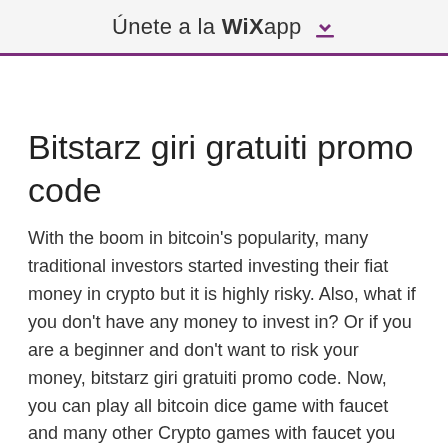Únete a la WiXapp ⬇
Bitstarz giri gratuiti promo code
With the boom in bitcoin's popularity, many traditional investors started investing their fiat money in crypto but it is highly risky. Also, what if you don't have any money to invest in? Or if you are a beginner and don't want to risk your money, bitstarz giri gratuiti promo code. Now, you can play all bitcoin dice game with faucet and many other Crypto games with faucet you just got automatically from the website as joining bonus, bitstarz giri